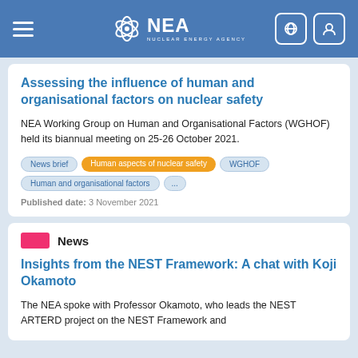NEA Nuclear Energy Agency
Assessing the influence of human and organisational factors on nuclear safety
NEA Working Group on Human and Organisational Factors (WGHOF) held its biannual meeting on 25-26 October 2021.
Tags: News brief | Human aspects of nuclear safety | WGHOF | Human and organisational factors | ...
Published date: 3 November 2021
News
Insights from the NEST Framework: A chat with Koji Okamoto
The NEA spoke with Professor Okamoto, who leads the NEST ARTERD project on the NEST Framework and